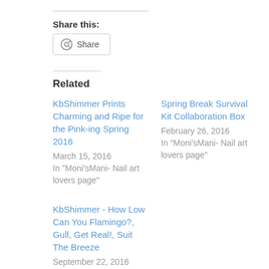Share this:
Share (button)
Related
KbShimmer Prints Charming and Ripe for the Pink-ing Spring 2016
March 15, 2016
In "Moni'sMani- Nail art lovers page"
Spring Break Survival Kit Collaboration Box
February 26, 2016
In "Moni'sMani- Nail art lovers page"
KbShimmer - How Low Can You Flamingo?, Gull, Get Real!, Suit The Breeze
September 22, 2016
In "Moni'sMani- Nail art lovers page"